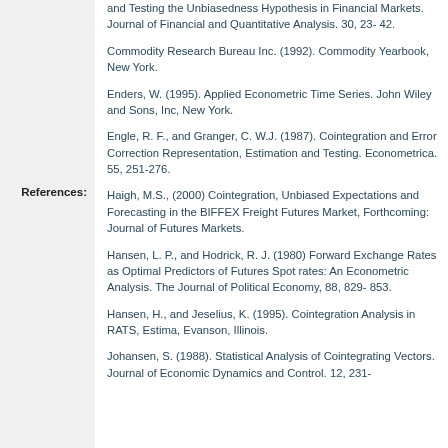References:
and Testing the Unbiasedness Hypothesis in Financial Markets. Journal of Financial and Quantitative Analysis. 30, 23- 42.
Commodity Research Bureau Inc. (1992). Commodity Yearbook, New York.
Enders, W. (1995). Applied Econometric Time Series. John Wiley and Sons, Inc, New York.
Engle, R. F., and Granger, C. W.J. (1987). Cointegration and Error Correction Representation, Estimation and Testing. Econometrica. 55, 251-276.
Haigh, M.S., (2000) Cointegration, Unbiased Expectations and Forecasting in the BIFFEX Freight Futures Market, Forthcoming: Journal of Futures Markets.
Hansen, L. P., and Hodrick, R. J. (1980) Forward Exchange Rates as Optimal Predictors of Futures Spot rates: An Econometric Analysis. The Journal of Political Economy, 88, 829- 853.
Hansen, H., and Jeselius, K. (1995). Cointegration Analysis in RATS, Estima, Evanson, Illinois.
Johansen, S. (1988). Statistical Analysis of Cointegrating Vectors. Journal of Economic Dynamics and Control. 12, 231-